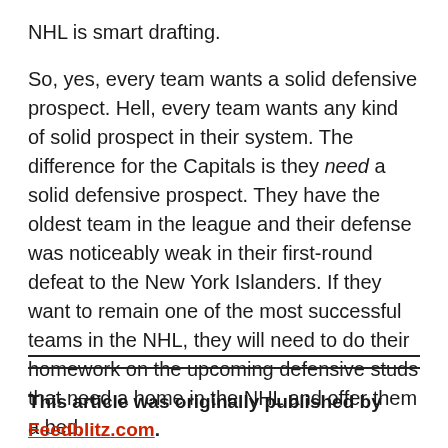NHL is smart drafting.
So, yes, every team wants a solid defensive prospect. Hell, every team wants any kind of solid prospect in their system. The difference for the Capitals is they need a solid defensive prospect. They have the oldest team in the league and their defense was noticeably weak in their first-round defeat to the New York Islanders. If they want to remain one of the most successful teams in the NHL, they will need to do their homework on the upcoming defensive studs that need a home in the NHL and offer them a bed.
This article was originally published by Feedblitz.com. Read the original article here.